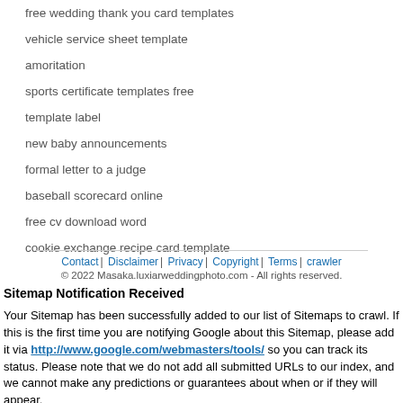free wedding thank you card templates
vehicle service sheet template
amoritation
sports certificate templates free
template label
new baby announcements
formal letter to a judge
baseball scorecard online
free cv download word
cookie exchange recipe card template
Contact | Disclaimer | Privacy | Copyright | Terms | crawler
© 2022 Masaka.luxiarweddingphoto.com - All rights reserved.
Sitemap Notification Received
Your Sitemap has been successfully added to our list of Sitemaps to crawl. If this is the first time you are notifying Google about this Sitemap, please add it via http://www.google.com/webmasters/tools/ so you can track its status. Please note that we do not add all submitted URLs to our index, and we cannot make any predictions or guarantees about when or if they will appear.